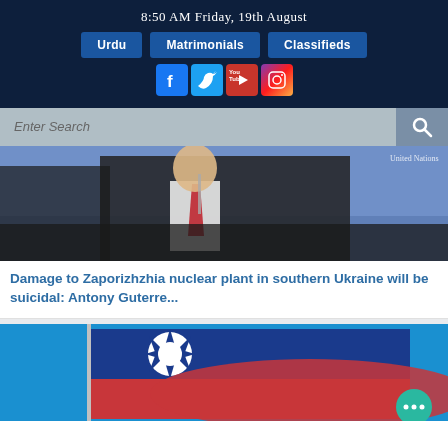8:50 AM Friday, 19th August
Urdu | Matrimonials | Classifieds
[Figure (screenshot): Social media icons: Facebook, Twitter, YouTube, Instagram]
[Figure (photo): UN official in suit with red tie at podium, United Nations watermark visible]
Damage to Zaporizhzhia nuclear plant in southern Ukraine will be suicidal: Antony Guterre...
[Figure (photo): Taiwan flag (red, blue, white sun) waving against blue sky background]